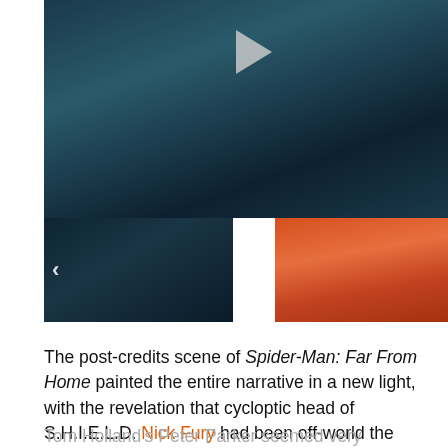[Figure (photo): Video player with a dark blue-toned main image showing a figure with a play button overlay, and two thumbnails below: one dark blue-toned and one orange-toned with a figure.]
The post-credits scene of Spider-Man: Far From Home painted the entire narrative in a new light, with the revelation that cycloptic head of S.H.I.E.L.D. Nick Fury had been off-world the entire time, sending a Skrull to take his place on Earth.
Tom Holland's Peter Parker seemed very confused